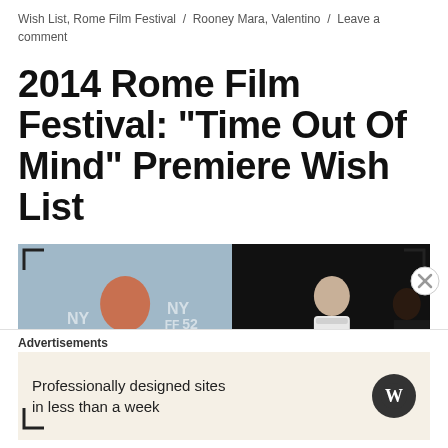Wish List, Rome Film Festival / Rooney Mara, Valentino / Leave a comment
2014 Rome Film Festival: "Time Out Of Mind" Premiere Wish List
[Figure (photo): Left: woman with red hair smiling at NYFF52 event in a striped outfit. Right: fashion model in white halter dress on dark runway.]
Advertisements
Professionally designed sites in less than a week